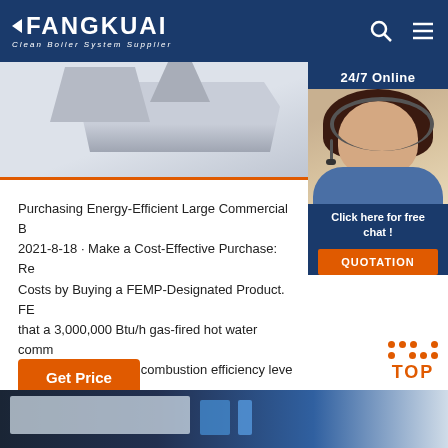FANGKUAI Clean Boiler System Supplier
[Figure (photo): Product image area showing industrial boiler/equipment in grey tones]
[Figure (photo): 24/7 Online chat widget with woman wearing headset and blue uniform, with 'Click here for free chat!' and QUOTATION button]
Purchasing Energy-Efficient Large Commercial B... 2021-8-18 · Make a Cost-Effective Purchase: Re... Costs by Buying a FEMP-Designated Product. FE... that a 3,000,000 Btu/h gas-fired hot water comm... meeting the required combustion efficiency leve... saves money if ...
[Figure (other): Get Price orange button]
[Figure (other): TOP navigation button with orange dot pattern above text TOP]
[Figure (photo): Bottom strip showing industrial equipment in blue/dark tones]